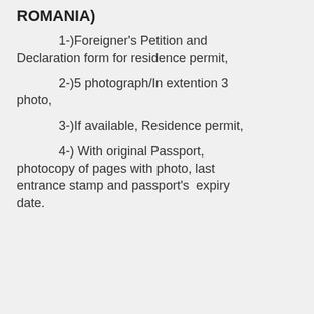ROMANIA)
1-)Foreigner's Petition and Declaration form for residence permit,
2-)5 photograph/In extention 3 photo,
3-)If available, Residence permit,
4-) With original Passport, photocopy of pages with photo, last entrance stamp and passport's  expiry date.